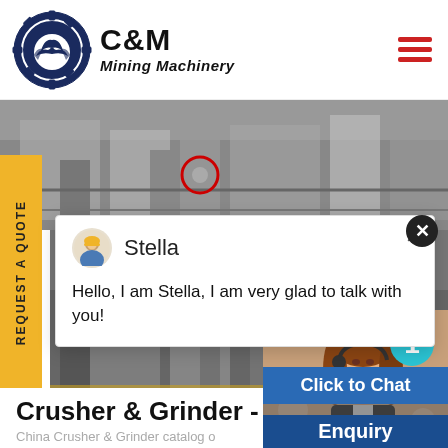[Figure (logo): C&M Mining Machinery logo with eagle in gear circle, navy blue and black text]
[Figure (photo): Industrial machinery factory interior, grayscale equipment photo]
REQUEST A QUOTE
[Figure (screenshot): Chat popup with avatar of Stella and message: Hello, I am Stella, I am very glad to talk with you!]
[Figure (photo): Factory floor with heavy machinery, black and white, C&MINING watermark]
Crusher & Grinder - Mac
China Crusher & Grinder catalog o
[Figure (photo): Chat widget showing woman with headset, notification badge with number 1, Click to Chat button, Enquiry label]